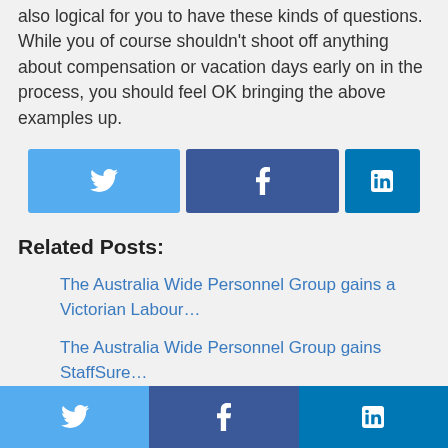also logical for you to have these kinds of questions. While you of course shouldn't shoot off anything about compensation or vacation days early on in the process, you should feel OK bringing the above examples up.
[Figure (infographic): Social share buttons: Twitter (light blue), Facebook (dark blue), LinkedIn (teal blue)]
Related Posts:
The Australia Wide Personnel Group gains a Victorian Labour…
The Australia Wide Personnel Group gains StaffSure…
« Previous article   Next article »
[Figure (infographic): Footer social bar: Twitter (light blue), Facebook (dark blue), LinkedIn (teal blue)]